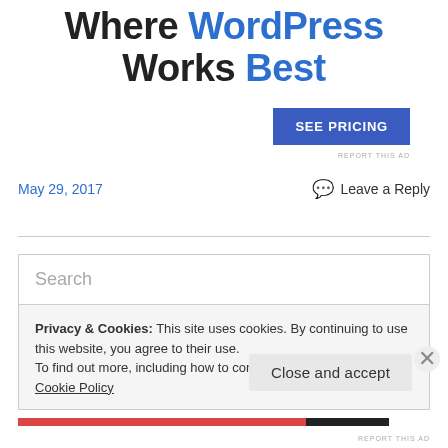Where WordPress Works Best
SEE PRICING
REPORT THIS AD
May 29, 2017
Leave a Reply
Search
Privacy & Cookies: This site uses cookies. By continuing to use this website, you agree to their use.
To find out more, including how to control cookies, see here: Cookie Policy
Close and accept
REPORT THIS AD